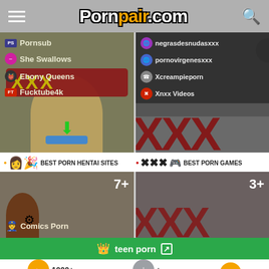Pornpair.com
[Figure (screenshot): Left card showing list: Pornsub, She Swallows, Ebony Queens, Fucktube4k with XXX background]
[Figure (screenshot): Right card showing list: negrasdesnudasxxx, pornovirgenesxxx, Xcreampieporn, Xnxx Videos with XXX background]
BEST PORN HENTAI SITES
BEST PORN GAMES
[Figure (screenshot): Comics Porn card with 7+ count badge]
[Figure (screenshot): XXX card with 3+ count badge]
teen porn
1000+
ALL SITES
+
BEST PORN BLOGS SIT...